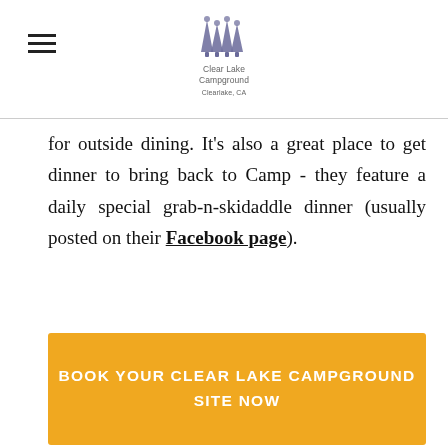Clear Lake Campground
for outside dining. It's also a great place to get dinner to bring back to Camp - they feature a daily special grab-n-skidaddle dinner (usually posted on their Facebook page).
BOOK YOUR CLEAR LAKE CAMPGROUND SITE NOW
More food and wine options around Lake County